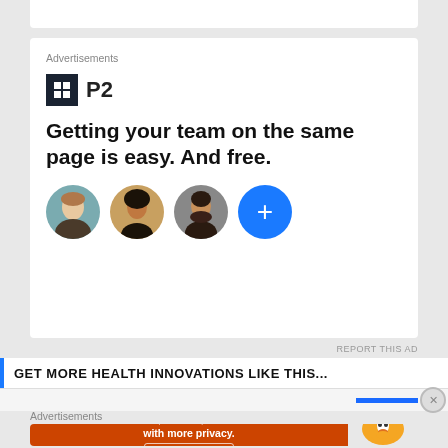Advertisements
[Figure (logo): P2 logo — dark square icon with white grid/window symbol and 'P2' text]
Getting your team on the same page is easy. And free.
[Figure (illustration): Three circular avatar photos of people and a blue plus button]
REPORT THIS AD
GET MORE HEALTH INNOVATIONS LIKE THIS...
Advertisements
[Figure (screenshot): DuckDuckGo ad banner: orange left side with text 'Search, browse, and email with more privacy. All in One Free App', right side shows DuckDuckGo duck logo]